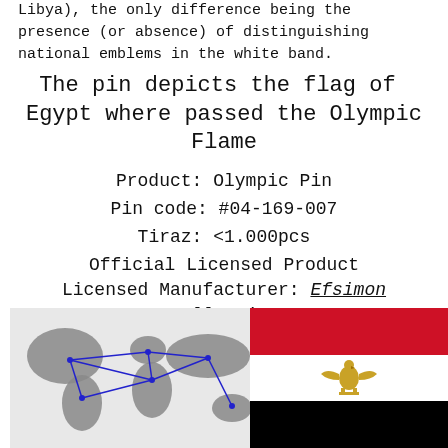Libya), the only difference being the presence (or absence) of distinguishing national emblems in the white band.
The pin depicts the flag of Egypt where passed the Olympic Flame
Product: Olympic Pin
Pin code: #04-169-007
Tiraz: <1.000pcs
Official Licensed Product
Licensed Manufacturer: Efsimon Collection
[Figure (map): World map with blue lines showing Olympic Flame route passing through Egypt]
[Figure (illustration): Flag of Egypt: horizontal red, white (with golden eagle emblem), and black stripes]